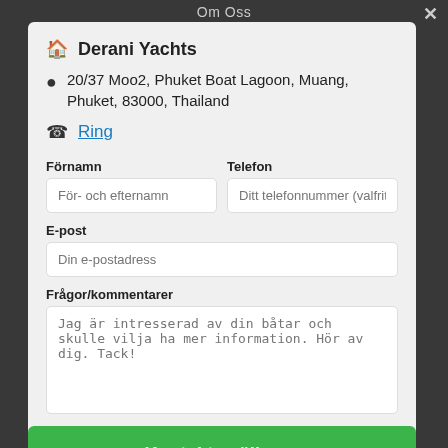Om Oss
Derani Yachts
20/37 Moo2, Phuket Boat Lagoon, Muang, Phuket, 83000, Thailand
Ring
Förnamn
För- och efternamn
Telefon
Ditt telefonnummer (valfritt)
E-post
Din e-postadress
Frågor/kommentarer
Jag är intresserad av din båtar och skulle vilja ha mer information. Hör av dig. Tack!
Kontakta säljaren